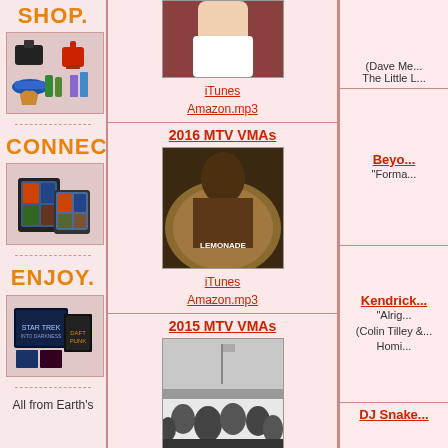[Figure (illustration): Amazon shop advertisement sidebar with SHOP. heading and product images]
SHOP.
CONNECT.
ENJOY.
All from Earth's
[Figure (photo): Partial photo of a person at the top]
iTunes
Amazon.mp3
2016 MTV VMAs
[Figure (photo): Beyonce Lemonade album cover]
iTunes
Amazon.mp3
2015 MTV VMAs
[Figure (photo): Kendrick Lamar To Pimp a Butterfly album cover with crowd]
iTunes
Amazon.mp3
2014 MTV VMAs
[Figure (photo): 2014 MTV VMAs album/artist image]
(Dave Me...
The Little L...
Beyo...
"Forma...
Kendrick...
"Alrig...
(Colin Tilley &...
Homi...
DJ Snake...